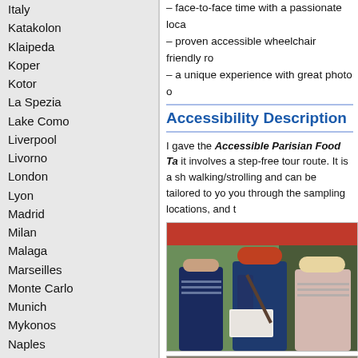Italy
Katakolon
Klaipeda
Koper
Kotor
La Spezia
Lake Como
Liverpool
Livorno
London
Lyon
Madrid
Milan
Malaga
Marseilles
Monte Carlo
Munich
Mykonos
Naples
Nice
Normandy
North America
Palma de Mallorca
Paris
Prague
– face-to-face time with a passionate loca– proven accessible wheelchair friendly ro– a unique experience with great photo o
Accessibility Description
I gave the Accessible Parisian Food Ta it involves a step-free tour route. It is a sh walking/strolling and can be tailored to yo you through the sampling locations, and t
[Figure (photo): Photo of people on a food tour, standing outside a shop, one person holding a box of food samples]